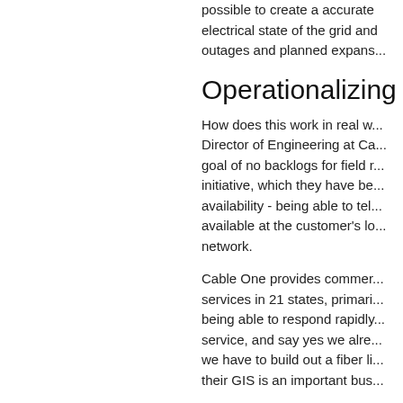possible to create a accurate electrical state of the grid and outages and planned expans...
Operationalizing the...
How does this work in real w... Director of Engineering at Ca... goal of no backlogs for field r... initiative, which they have be... availability - being able to tel... available at the customer's lo... network.
Cable One provides commer... services in 21 states, primari... being able to respond rapidly... service, and say yes we alre... we have to build out a fiber li... their GIS is an important bus...
By prioritizing as-built and up... as-builts and updates are in t... achieve this, they first chang... paperless about five years a...